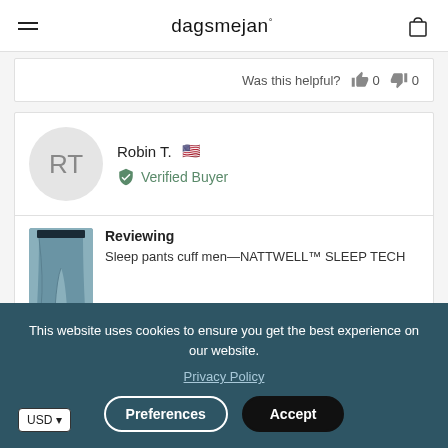dagsmejan°
Was this helpful? 0 0
Robin T. 🇺🇸 Verified Buyer
Reviewing Sleep pants cuff men—NATTWELL™ SLEEP TECH
This website uses cookies to ensure you get the best experience on our website.
Privacy Policy
Preferences Accept
USD